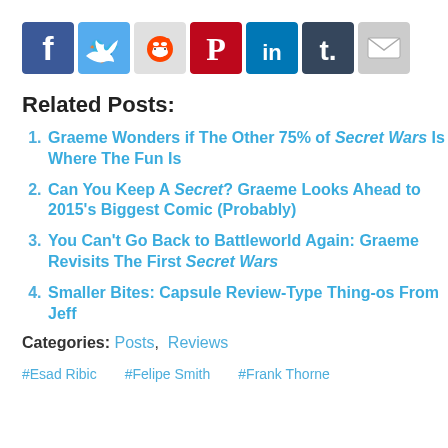[Figure (infographic): Row of social media sharing icons: Facebook (blue), Twitter (light blue), Reddit (grey/red alien), Pinterest (red), LinkedIn (dark blue), Tumblr (dark blue), Email (grey envelope)]
Related Posts:
Graeme Wonders if The Other 75% of Secret Wars Is Where The Fun Is
Can You Keep A Secret? Graeme Looks Ahead to 2015's Biggest Comic (Probably)
You Can't Go Back to Battleworld Again: Graeme Revisits The First Secret Wars
Smaller Bites: Capsule Review-Type Thing-os From Jeff
Categories: Posts, Reviews
#Esad Ribic   #Felipe Smith   #Frank Thorne